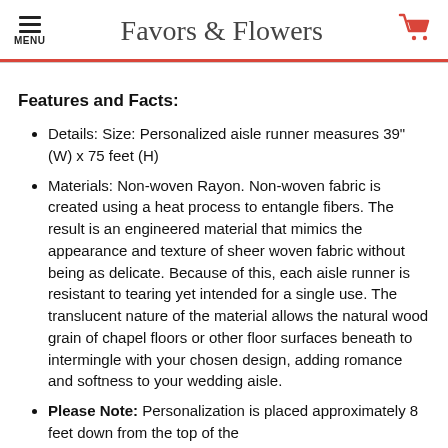Favors & Flowers
Features and Facts:
Details: Size: Personalized aisle runner measures 39" (W) x 75 feet (H)
Materials: Non-woven Rayon. Non-woven fabric is created using a heat process to entangle fibers. The result is an engineered material that mimics the appearance and texture of sheer woven fabric without being as delicate. Because of this, each aisle runner is resistant to tearing yet intended for a single use. The translucent nature of the material allows the natural wood grain of chapel floors or other floor surfaces beneath to intermingle with your chosen design, adding romance and softness to your wedding aisle.
Please Note: Personalization is placed approximately 8 feet down from the top of the